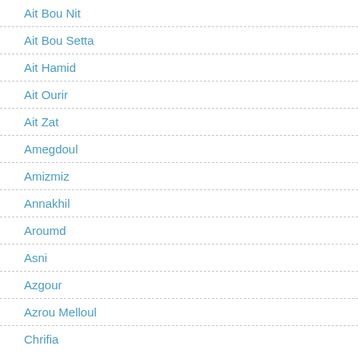Ait Bou Nit
Ait Bou Setta
Ait Hamid
Ait Ourir
Ait Zat
Amegdoul
Amizmiz
Annakhil
Aroumd
Asni
Azgour
Azrou Melloul
Chrifia